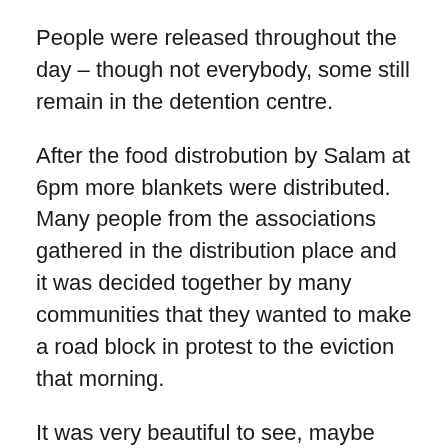People were released throughout the day – though not everybody, some still remain in the detention centre.
After the food distrobution by Salam at 6pm more blankets were distributed. Many people from the associations gathered in the distribution place and it was decided together by many communities that they wanted to make a road block in protest to the eviction that morning.
It was very beautiful to see, maybe 100 people or less sat and stood in the road to the port and blocked traffic. Plastic sheeting was brought and people made makeshift tents over the road. Cardboard sheets were written on with slogans like “where are our human rights?” and “we are not criminals!”.
Chanting and singing and dancing made the atmosphere a